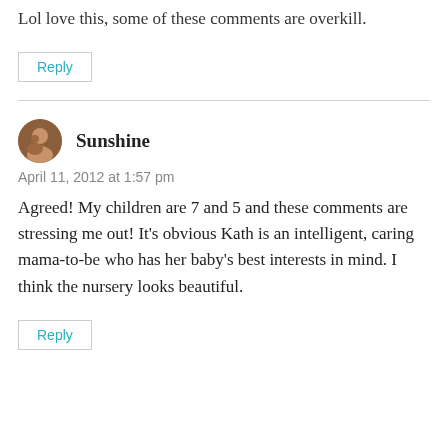Lol love this, some of these comments are overkill.
Reply
Sunshine
April 11, 2012 at 1:57 pm
Agreed! My children are 7 and 5 and these comments are stressing me out! It’s obvious Kath is an intelligent, caring mama-to-be who has her baby’s best interests in mind. I think the nursery looks beautiful.
Reply